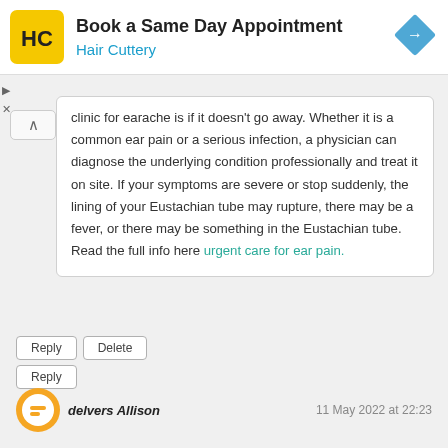[Figure (screenshot): Hair Cuttery advertisement banner with logo and 'Book a Same Day Appointment' heading]
clinic for earache is if it doesn't go away. Whether it is a common ear pain or a serious infection, a physician can diagnose the underlying condition professionally and treat it on site. If your symptoms are severe or stop suddenly, the lining of your Eustachian tube may rupture, there may be a fever, or there may be something in the Eustachian tube. Read the full info here urgent care for ear pain.
Reply | Delete
Reply
delvers Allison    11 May 2022 at 22:23